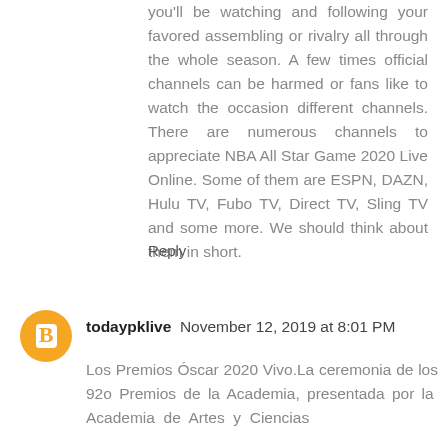you'll be watching and following your favored assembling or rivalry all through the whole season. A few times official channels can be harmed or fans like to watch the occasion different channels. There are numerous channels to appreciate NBA All Star Game 2020 Live Online. Some of them are ESPN, DAZN, Hulu TV, Fubo TV, Direct TV, Sling TV and some more. We should think about them in short.
Reply
[Figure (illustration): Orange circular avatar icon with a white 'B' (Blogger logo) in the center]
todaypklive  November 12, 2019 at 8:01 PM
Los Premios Óscar 2020 Vivo.La ceremonia de los 92o Premios de la Academia, presentada por la Academia de Artes y Ciencias